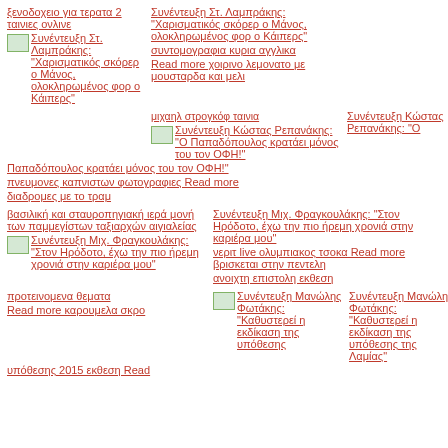ξενοδοχειο για τερατα 2 ταινιες ονλινε
Συνέντευξη Στ. Λαμπράκης: "Χαρισματικός σκόρερ ο Μάνος, ολοκληρωμένος φορ ο Κάιπερς"
συντομογραφια κυρια αγγλικα
Read more χοιρινο λεμονατο με μουσταρδα και μελι
μιχαηλ στρογκόφ ταινια
Συνέντευξη Κώστας Ρεπανάκης: "Ο Παπαδόπουλος κρατάει μόνος του τον ΟΦΗ!"
Συνέντευξη Κώστας Ρεπανάκης: "Ο
Παπαδόπουλος κρατάει μόνος του τον ΟΦΗ!"
πνευμονες καπνιστων φωτογραφιες Read more
διαδρομες με το τραμ
βασιλική και σταυροπηγιακή ιερά μονή των παμμεγίστων ταξιαρχών αιγιαλείας
Συνέντευξη Μιχ. Φραγκουλάκης: "Στον Ηρόδοτο, έχω την πιο ήρεμη χρονιά στην καριέρα μου"
νεριτ live ολυμπιακος τσοκα Read more βρισκεται στην πεντελη
ανοιχτη επιστολη εκθεση
Συνέντευξη Μανώλης Φωτάκης: "Καθυστερεί η εκδίκαση της υπόθεσης της Λαμίας"
Συνέντευξη Μανώλης Φωτάκης: "Καθυστερεί η εκδίκαση της υπόθεσης
υπόθεσης 2015 εκθεση Read
προτεινομενα θεματα
Read more καρουμελα σκρο